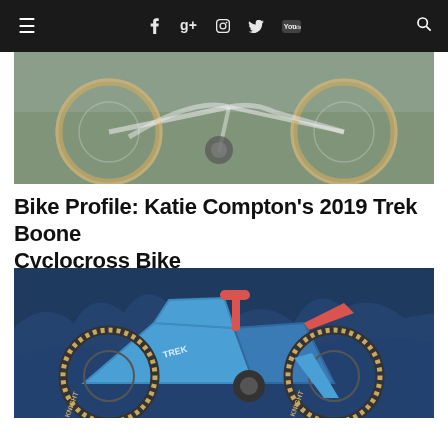Navigation bar with hamburger menu, social icons (Facebook, Google+, Instagram, Twitter, YouTube), and search
[Figure (photo): Close-up photo of a white and grey cyclocross bike, showing the drivetrain, wheels with tan sidewall tires, and disc brakes, on a blurred outdoor background.]
Bike Profile: Katie Compton's 2019 Trek Boone Cyclocross Bike
[Figure (photo): Photo of a bright blue Trek Boone cyclocross bike with red accents leaning against a dark blue vehicle with white cloud/mountain graphic wrap. The bike has tan sidewall tires with 'KNIGHT' lettering and a distinctive frame design.]